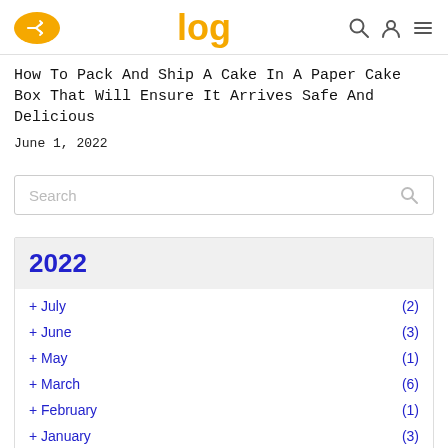log
How To Pack And Ship A Cake In A Paper Cake Box That Will Ensure It Arrives Safe And Delicious
June 1, 2022
Search
2022
+ July (2)
+ June (3)
+ May (1)
+ March (6)
+ February (1)
+ January (3)